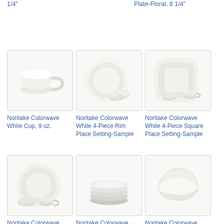1/4"
Plate-Floral, 8 1/4"
[Figure (photo): Noritake Colorwave White Cup, 9 oz.]
Noritake Colorwave White Cup, 9 oz.
[Figure (photo): Noritake Colorwave White 4-Piece Rim Place Setting-Sample]
Noritake Colorwave White 4-Piece Rim Place Setting-Sample
[Figure (photo): Noritake Colorwave White 4-Piece Square Place Setting-Sample]
Noritake Colorwave White 4-Piece Square Place Setting-Sample
[Figure (photo): Noritake Colorwave (bottom row left)]
Noritake Colorwave
[Figure (photo): Noritake Colorwave (bottom row middle)]
Noritake Colorwave
[Figure (photo): Noritake Colorwave (bottom row right)]
Noritake Colorwave